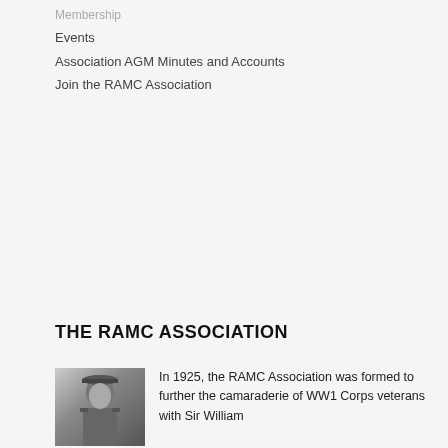Membership
Events
Association AGM Minutes and Accounts
Join the RAMC Association
THE RAMC ASSOCIATION
[Figure (photo): Black and white portrait photo of a military officer in uniform with cap]
In 1925, the RAMC Association was formed to further the camaraderie of WW1 Corps veterans with Sir William